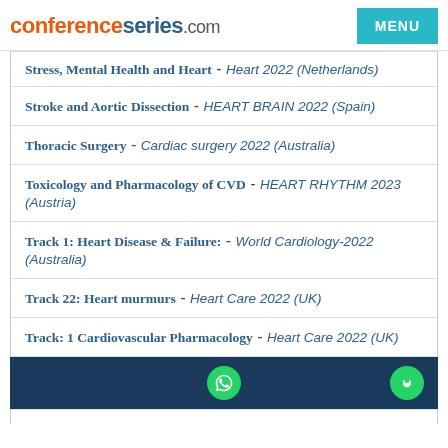conferenceseries.com
Stress, Mental Health and Heart - Heart 2022 (Netherlands)
Stroke and Aortic Dissection - HEART BRAIN 2022 (Spain)
Thoracic Surgery - Cardiac surgery 2022 (Australia)
Toxicology and Pharmacology of CVD - HEART RHYTHM 2023 (Austria)
Track 1: Heart Disease & Failure: - World Cardiology-2022 (Australia)
Track 22: Heart murmurs - Heart Care 2022 (UK)
Track: 1 Cardiovascular Pharmacology - Heart Care 2022 (UK)